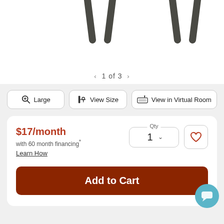[Figure (photo): Partial product image showing two dark metal chair/furniture legs at the top of the page on white background]
‹ 1 of 3 ›
Large
View Size
View in Virtual Room
$17/month
with 60 month financing*
Learn How
Qty 1
Add to Cart